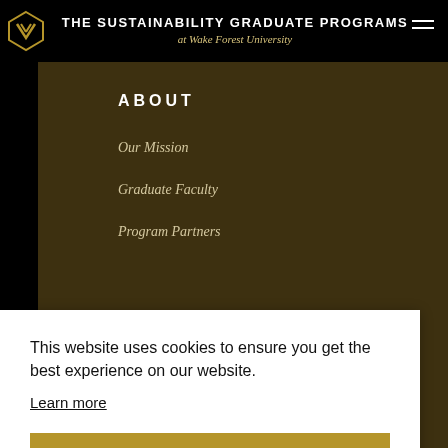THE SUSTAINABILITY GRADUATE PROGRAMS at Wake Forest University
ABOUT
Our Mission
Graduate Faculty
Program Partners
This website uses cookies to ensure you get the best experience on our website.
Learn more
Got it!
Download Our Brochure